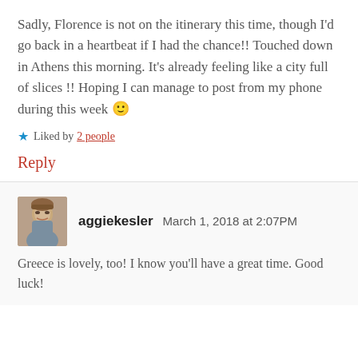Sadly, Florence is not on the itinerary this time, though I'd go back in a heartbeat if I had the chance!! Touched down in Athens this morning. It's already feeling like a city full of slices !! Hoping I can manage to post from my phone during this week 🙂
★ Liked by 2 people
Reply
aggiekesler  March 1, 2018 at 2:07PM
Greece is lovely, too! I know you'll have a great time. Good luck!